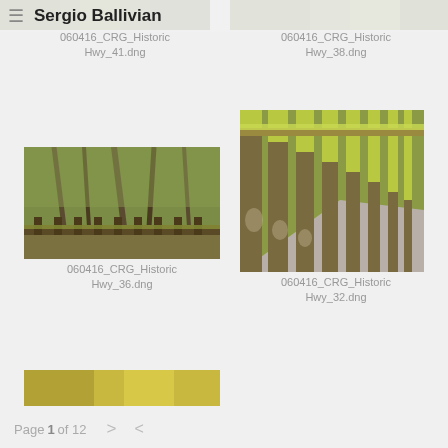≡ Sergio Ballivian
[Figure (photo): Partial view of mossy green trees/forest scene, top left]
060416_CRG_Historic Hwy_41.dng
[Figure (photo): Partial view of mossy green foliage, top right]
060416_CRG_Historic Hwy_38.dng
[Figure (photo): Moss-covered trees and wooden deck railing in forest]
060416_CRG_Historic Hwy_36.dng
[Figure (photo): Moss-covered stone bridge railing along a path]
060416_CRG_Historic Hwy_32.dng
[Figure (photo): Partial bottom image showing mossy yellow-green surface]
Page 1 of 12  >  <